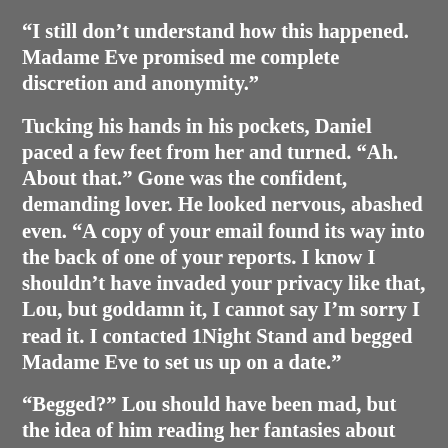“I still don’t understand how this happened. Madame Eve promised me complete discretion and anonymity.”
Tucking his hands in his pockets, Daniel paced a few feet from her and turned. “Ah. About that.” Gone was the confident, demanding lover. He looked nervous, abashed even. “A copy of your email found its way into the back of one of your reports. I know I shouldn’t have invaded your privacy like that, Lou, but goddamn it, I cannot say I’m sorry I read it. I contacted 1Night Stand and begged Madame Eve to set us up on a date.”
“Begged?” Lou should have been mad, but the idea of him reading her fantasies about him, along with being desperate to play them out with her, filled her with a sense of power.